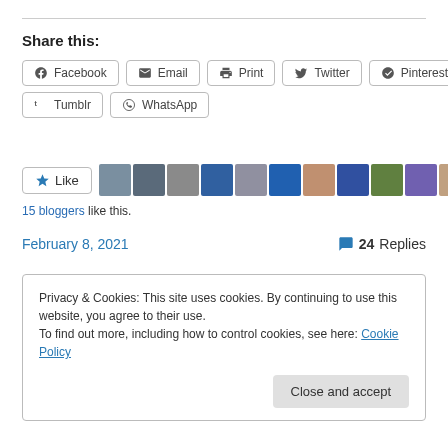Share this:
Facebook
Email
Print
Twitter
Pinterest
Tumblr
WhatsApp
[Figure (other): Like button with 11 blogger avatar thumbnails]
15 bloggers like this.
February 8, 2021
24 Replies
Privacy & Cookies: This site uses cookies. By continuing to use this website, you agree to their use.
To find out more, including how to control cookies, see here: Cookie Policy